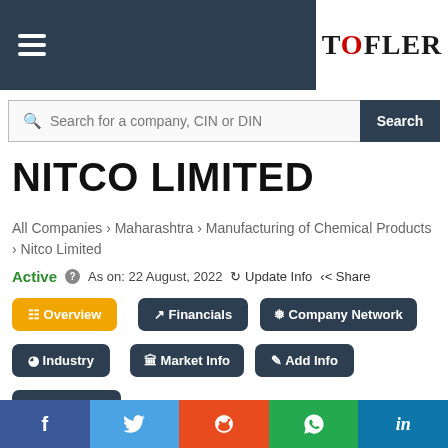TOFLER
Search for a company, CIN or DIN
NITCO LIMITED
All Companies › Maharashtra › Manufacturing of Chemical Products › Nitco Limited
Active  As on: 22 August, 2022  Update Info  Share
Overview
Financials
Company Network
Industry
Market Info
Add Info
Directors
Facebook  Twitter  Reddit  WhatsApp  LinkedIn